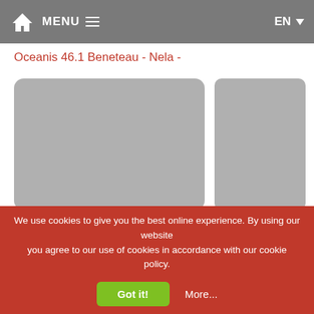MENU  EN
Oceanis 46.1 Beneteau - Nela -
[Figure (photo): Large image placeholder (gray rounded rectangle) and smaller image placeholder side by side]
General
Sailboat Beneteau Oceanis 46.1 is...
We use cookies to give you the best online experience. By using our website you agree to our use of cookies in accordance with our cookie policy.
Got it!
More...